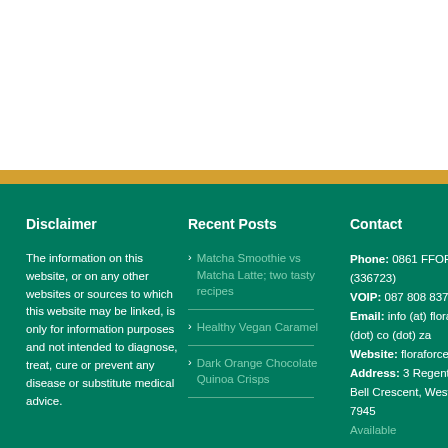Disclaimer
The information on this website, or on any other websites or sources to which this website may be linked, is only for information purposes and not intended to diagnose, treat, cure or prevent any disease or substitute medical advice.
Recent Posts
Matcha Smoothie vs Matcha Latte; two tasty recipes
Healthy Vegan Caramel
Dark Orange Chocolate Quinoa Crisps
Contact
Phone: 0861 FFORCE (336723) VOIP: 087 808 8370 Email: info (at) floraforce (dot) co (dot) za Website: floraforce.co.za Address: 3 Regent Park, Bell Crescent, Westlake, 7945 Available